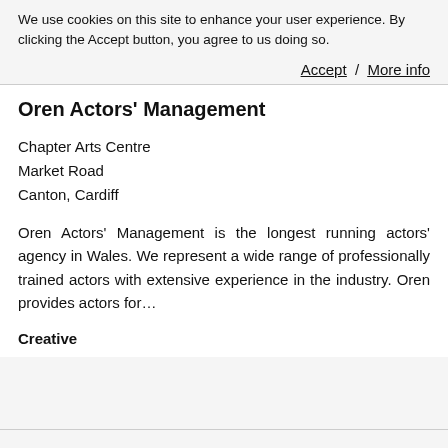We use cookies on this site to enhance your user experience. By clicking the Accept button, you agree to us doing so.
Accept / More info
Oren Actors' Management
Chapter Arts Centre
Market Road
Canton, Cardiff
Oren Actors' Management is the longest running actors' agency in Wales. We represent a wide range of professionally trained actors with extensive experience in the industry. Oren provides actors for…
Creative